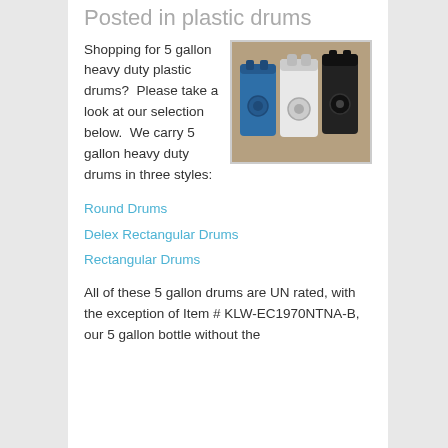Posted in plastic drums
[Figure (photo): Three 5-gallon heavy duty plastic drums in blue, white, and black colors, photographed on a brown background]
Shopping for 5 gallon heavy duty plastic drums?  Please take a look at our selection below.  We carry 5 gallon heavy duty drums in three styles:
Round Drums
Delex Rectangular Drums
Rectangular Drums
All of these 5 gallon drums are UN rated, with the exception of Item # KLW-EC1970NTNA-B, our 5 gallon bottle without the